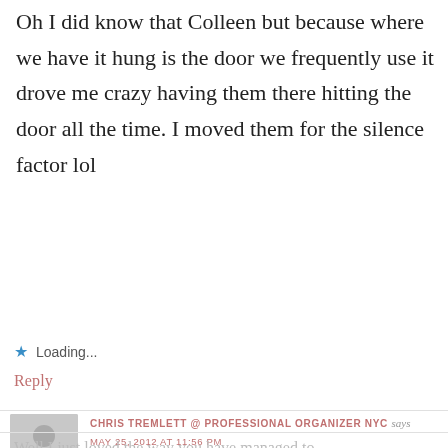Oh I did know that Colleen but because where we have it hung is the door we frequently use it drove me crazy having them there hitting the door all the time. I moved them for the silence factor lol
Loading...
Reply
[Figure (illustration): Default grey avatar placeholder showing silhouette of a person]
CHRIS TREMLETT @ PROFESSIONAL ORGANIZER NYC says
MAY 25, 2012 AT 11:56 PM
Well I just loved the way you have managed to